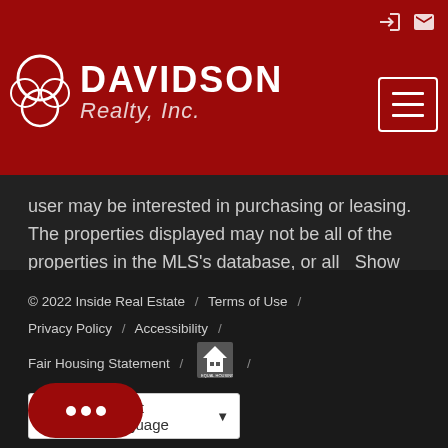[Figure (logo): Davidson Realty Inc. logo with red background, white text and decorative icon]
user may be interested in purchasing or leasing. The properties displayed may not be all of the properties in the MLS's database, or all   Show More...
© 2022 Inside Real Estate / Terms of Use / Privacy Policy / Accessibility / Fair Housing Statement / [Equal Housing logo] / Select Language